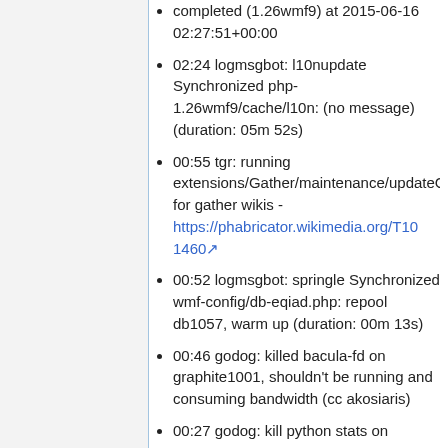completed (1.26wmf9) at 2015-06-16 02:27:51+00:00
02:24 logmsgbot: l10nupdate Synchronized php-1.26wmf9/cache/l10n: (no message) (duration: 05m 52s)
00:55 tgr: running extensions/Gather/maintenance/updateC for gather wikis - https://phabricator.wikimedia.org/T101460
00:52 logmsgbot: springle Synchronized wmf-config/db-eqiad.php: repool db1057, warm up (duration: 00m 13s)
00:46 godog: killed bacula-fd on graphite1001, shouldn't be running and consuming bandwidth (cc akosiaris)
00:27 godog: kill python stats on